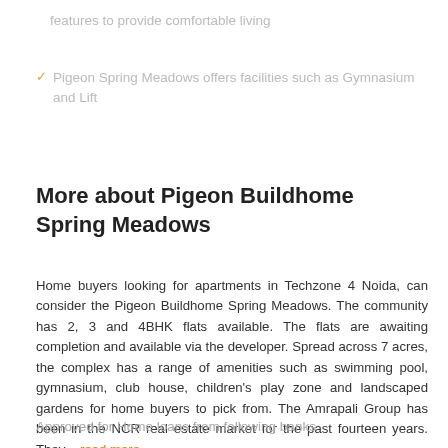features to provide comfortable living
Pigeon Spring Meadows offers facilities such as Gymnasium and Lift
More about Pigeon Buildhome Spring Meadows
Home buyers looking for apartments in Techzone 4 Noida, can consider the Pigeon Buildhome Spring Meadows. The community has 2, 3 and 4BHK flats available. The flats are awaiting completion and available via the developer. Spread across 7 acres, the complex has a range of amenities such as swimming pool, gymnasium, club house, children's play zone and landscaped gardens for home buyers to pick from. The Amrapali Group has been in the NCR real estate market for the past fourteen years. They ...read more
Approved for Home loans from following banks